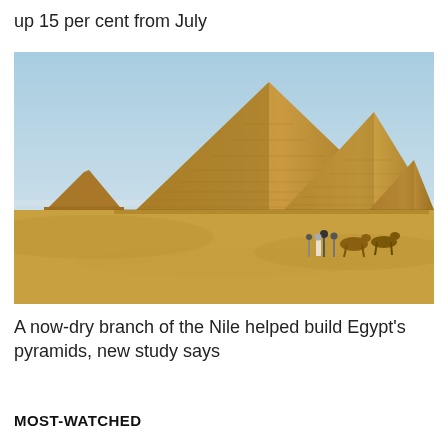up 15 per cent from July
[Figure (photo): Photograph of the Pyramids of Giza with sandy desert in the foreground, a blue sky above, and a group of people with camels in the middle ground.]
A now-dry branch of the Nile helped build Egypt's pyramids, new study says
MOST-WATCHED